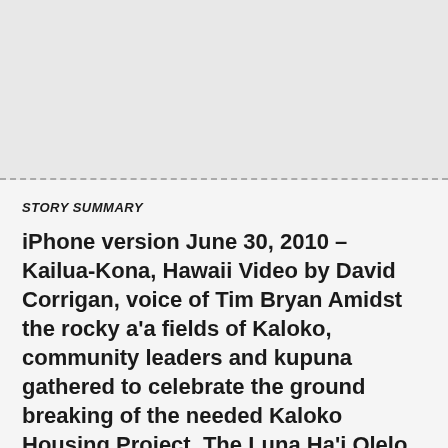STORY SUMMARY
iPhone version June 30, 2010 – Kailua-Kona, Hawaii Video by David Corrigan, voice of Tim Bryan Amidst the rocky a'a fields of Kaloko, community leaders and kupuna gathered to celebrate the ground breaking of the needed Kaloko Housing Project. The Luna Ha'i Olelo, or MC of the event, was Jeremy McComber, the Development Division Chief with [...]